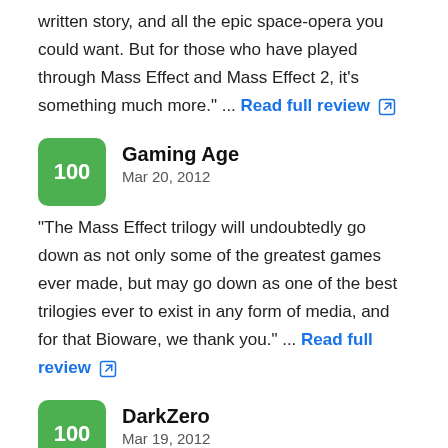written story, and all the epic space-opera you could want. But for those who have played through Mass Effect and Mass Effect 2, it's something much more." ... Read full review
Gaming Age
Mar 20, 2012
100
"The Mass Effect trilogy will undoubtedly go down as not only some of the greatest games ever made, but may go down as one of the best trilogies ever to exist in any form of media, and for that Bioware, we thank you." ... Read full review
DarkZero
Mar 19, 2012
100
"I've never been privy to a game that caused me to wonder, question, and embrace humanity's place and purpose as greatly as Mass Effect 3. It is worth noting – BioWare